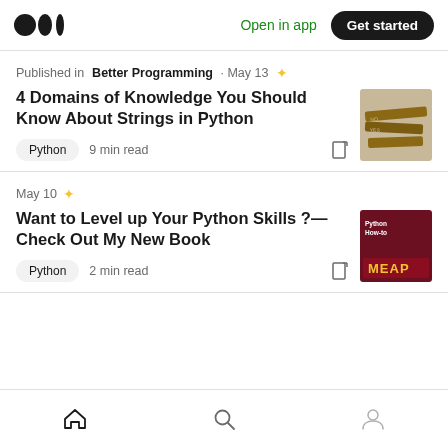Medium logo | Open in app | Get started
Published in Better Programming · May 13 ★
4 Domains of Knowledge You Should Know About Strings in Python
Python  9 min read
[Figure (photo): Thumbnail image of wooden directional signs]
May 10 ★
Want to Level up Your Python Skills ?— Check Out My New Book
Python  2 min read
[Figure (photo): Thumbnail of Python How-to MEAP book cover with dark red background]
Home | Search | Profile navigation icons